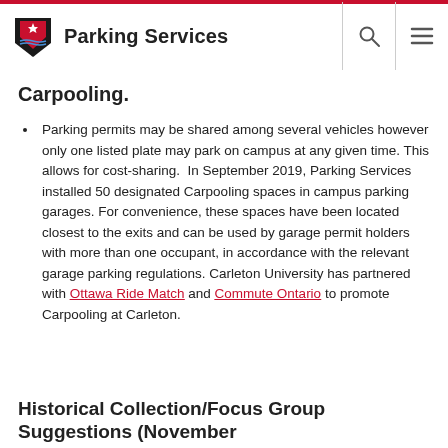Parking Services
Carpooling.
Parking permits may be shared among several vehicles however only one listed plate may park on campus at any given time. This allows for cost-sharing. In September 2019, Parking Services installed 50 designated Carpooling spaces in campus parking garages. For convenience, these spaces have been located closest to the exits and can be used by garage permit holders with more than one occupant, in accordance with the relevant garage parking regulations. Carleton University has partnered with Ottawa Ride Match and Commute Ontario to promote Carpooling at Carleton.
Historical Collection/Focus Group Suggestions (November